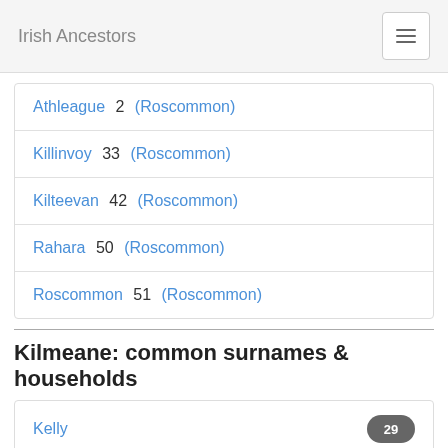Irish Ancestors
| Parish | Count | County |
| --- | --- | --- |
| Athleague | 2 | (Roscommon) |
| Killinvoy | 33 | (Roscommon) |
| Kilteevan | 42 | (Roscommon) |
| Rahara | 50 | (Roscommon) |
| Roscommon | 51 | (Roscommon) |
Kilmeane: common surnames & households
| Surname | Count |
| --- | --- |
| Kelly | 29 |
| Murray | 11 |
| Fallon | 10 |